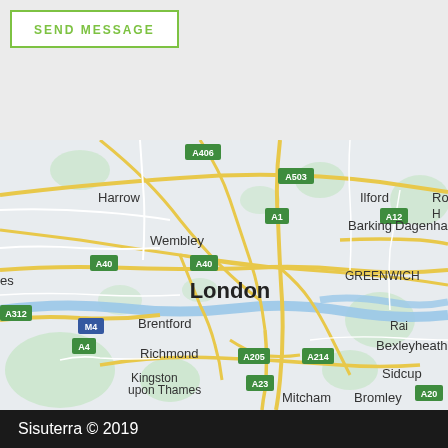SEND MESSAGE
[Figure (map): Google Maps view of London and surrounding areas, showing major roads (A406, A503, A1, A12, A40, A205, A214, A23, A312, M4, A4, A205) and districts including Harrow, Wembley, Brentford, Richmond, Kingston upon Thames, Mitcham, London (centre), Greenwich, Ilford, Barking, Dagenham, Romford, Sidcup, Bexleyheath, Bromley]
Sisuterra © 2019